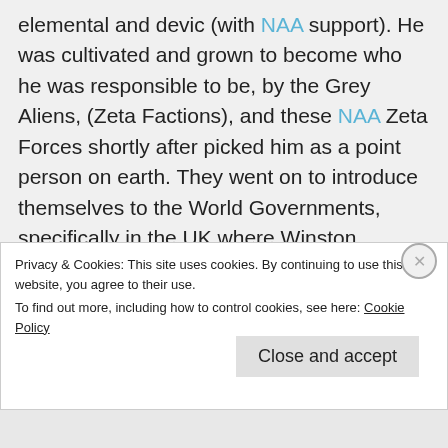elemental and devic (with NAA support). He was cultivated and grown to become who he was responsible to be, by the Grey Aliens, (Zeta Factions), and these NAA Zeta Forces shortly after picked him as a point person on earth. They went on to introduce themselves to the World Governments, specifically in the UK where Winston Churchill was being simultaneously groomed for power corruption exploitation in the UK interests to serve the reptilian power base. The timeline
Privacy & Cookies: This site uses cookies. By continuing to use this website, you agree to their use.
To find out more, including how to control cookies, see here: Cookie Policy